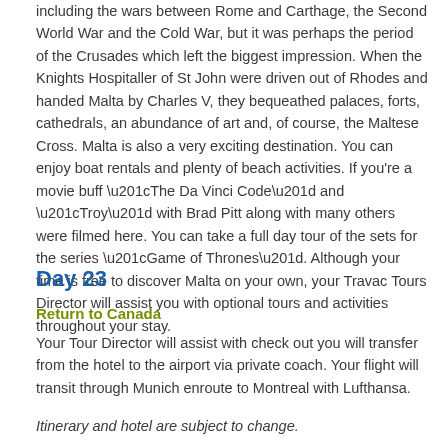including the wars between Rome and Carthage, the Second World War and the Cold War, but it was perhaps the period of the Crusades which left the biggest impression. When the Knights Hospitaller of St John were driven out of Rhodes and handed Malta by Charles V, they bequeathed palaces, forts, cathedrals, an abundance of art and, of course, the Maltese Cross. Malta is also a very exciting destination. You can enjoy boat rentals and plenty of beach activities. If you're a movie buff “The Da Vinci Code” and “Troy” with Brad Pitt along with many others were filmed here. You can take a full day tour of the sets for the series “Game of Thrones”. Although your time is free to discover Malta on your own, your Travac Tours Director will assist you with optional tours and activities throughout your stay.
Day 23
Return to Canada
Your Tour Director will assist with check out you will transfer from the hotel to the airport via private coach. Your flight will transit through Munich enroute to Montreal with Lufthansa.
Itinerary and hotel are subject to change.